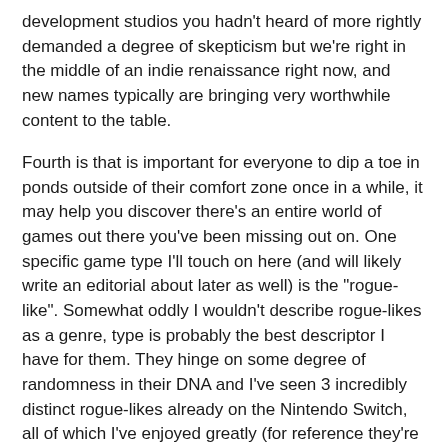development studios you hadn't heard of more rightly demanded a degree of skepticism but we're right in the middle of an indie renaissance right now, and new names typically are bringing very worthwhile content to the table.
Fourth is that is important for everyone to dip a toe in ponds outside of their comfort zone once in a while, it may help you discover there's an entire world of games out there you've been missing out on. One specific game type I'll touch on here (and will likely write an editorial about later as well) is the "rogue-like". Somewhat oddly I wouldn't describe rogue-likes as a genre, type is probably the best descriptor I have for them. They hinge on some degree of randomness in their DNA and I've seen 3 incredibly distinct rogue-likes already on the Nintendo Switch, all of which I've enjoyed greatly (for reference they're The Binding Of Isaac: Afterbirth + [a shooter of sorts with all of its glorious weirdness], Has-Been Heroes [a lane-based strategy game that too many people dismissed because of its challenge, difficulty is the wrong word], and Tumbleseed [I'm not sure there's really a genre for it, it's just unique and awesome... true Indie spirit!]). Up until about 2 years ago I'd never heard of rogue-likes or at